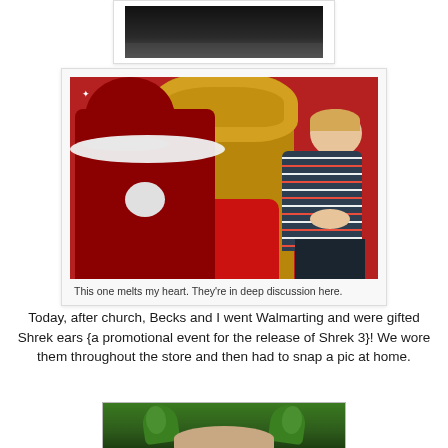[Figure (photo): Top portion of a photo, dark background, partially cropped at top of page]
[Figure (photo): Photo of a toddler in a striped shirt standing next to Santa Claus who is bent forward in a red throne with gold ornate back, against a red background with white stars]
This one melts my heart.  They're in deep discussion here.
Today, after church, Becks and I went Walmarting and were gifted Shrek ears {a promotional event for the release of Shrek 3}!  We wore them throughout the store and then had to snap a pic at home.
[Figure (photo): Bottom portion of photo showing green Shrek ears, partially cropped at bottom of page]